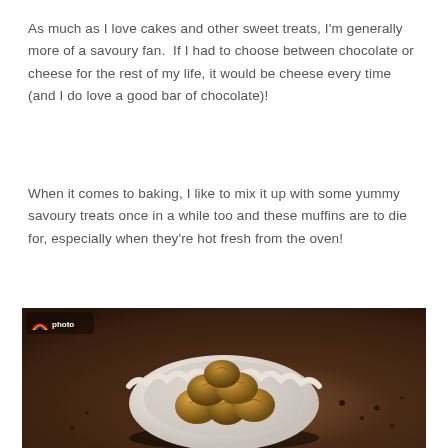As much as I love cakes and other sweet treats, I'm generally more of a savoury fan.  If I had to choose between chocolate or cheese for the rest of my life, it would be cheese every time (and I do love a good bar of chocolate)!
When it comes to baking, I like to mix it up with some yummy savoury treats once in a while too and these muffins are to die for, especially when they're hot fresh from the oven!
[Figure (photo): Overhead photo of small savoury muffins piled in a white scalloped bowl, placed on a dark rustic wooden surface with scattered crumbs. A rainbow watermark logo is visible in the top-left corner of the photo.]